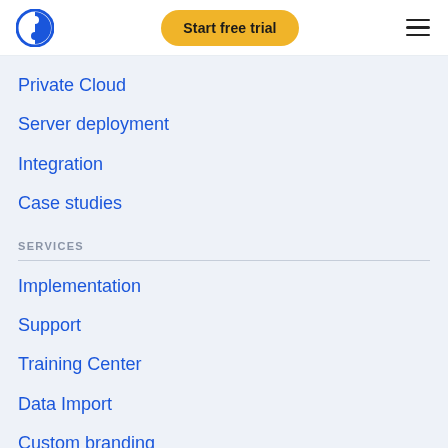[Figure (logo): Circular blue logo with a power/yin-yang style icon]
Start free trial
Private Cloud
Server deployment
Integration
Case studies
SERVICES
Implementation
Support
Training Center
Data Import
Custom branding